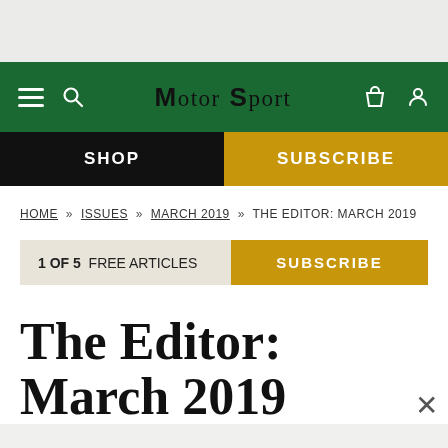Motor Sport – navigation bar with hamburger menu, search, logo, bag and user icons
SHOP | SUBSCRIBE
HOME » ISSUES » MARCH 2019 » THE EDITOR: MARCH 2019
1 OF 5 FREE ARTICLES  SUBSCRIBE
The Editor: March 2019